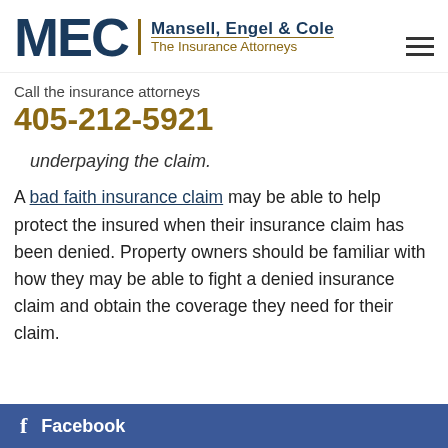[Figure (logo): Mansell, Engel & Cole law firm logo with MEC letters and tagline 'The Insurance Attorneys']
Call the insurance attorneys
405-212-5921
underpaying the claim.
A bad faith insurance claim may be able to help protect the insured when their insurance claim has been denied. Property owners should be familiar with how they may be able to fight a denied insurance claim and obtain the coverage they need for their claim.
Facebook